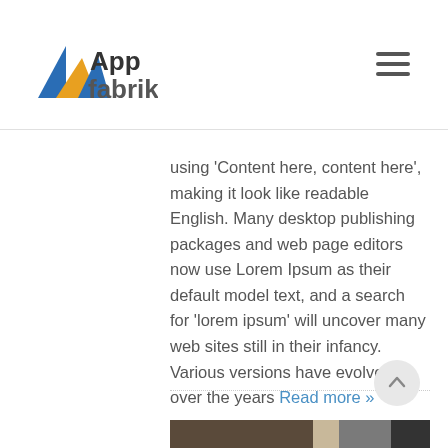App fabrik
using ‘Content here, content here’, making it look like readable English. Many desktop publishing packages and web page editors now use Lorem Ipsum as their default model text, and a search for ‘lorem ipsum’ will uncover many web sites still in their infancy. Various versions have evolved over the years Read more »
[Figure (other): Bottom image strip showing partial photograph and dark sections]